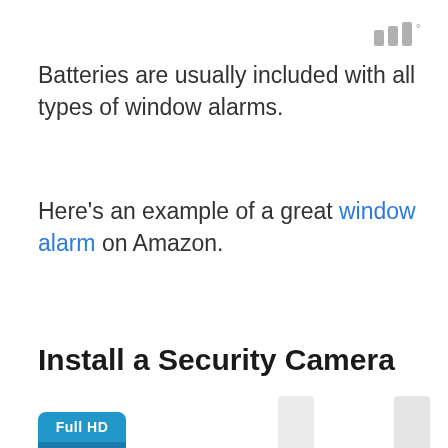[Figure (logo): Three vertical bars logo with superscript degree symbol, in gray]
Batteries are usually included with all types of window alarms.
Here's an example of a great window alarm on Amazon.
Install a Security Camera
[Figure (photo): Full HD 1080p badge in blue, and partial view of white security cameras]